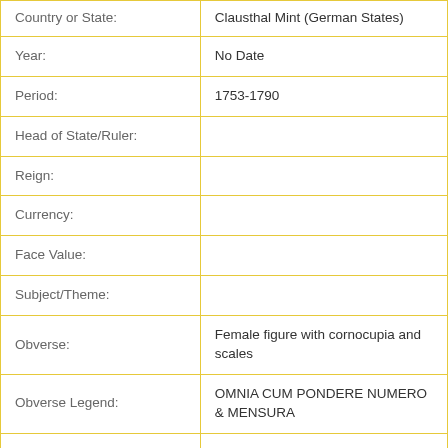| Field | Value |
| --- | --- |
| Country or State: | Clausthal Mint (German States) |
| Year: | No Date |
| Period: | 1753-1790 |
| Head of State/Ruler: |  |
| Reign: |  |
| Currency: |  |
| Face Value: |  |
| Subject/Theme: |  |
| Obverse: | Female figure with cornocupia and scales |
| Obverse Legend: | OMNIA CUM PONDERE NUMERO & MENSURA |
| Obverse Designer: | J. W. SCHLEMM |